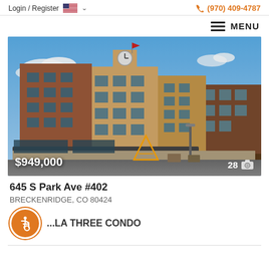Login / Register   (970) 409-4787
MENU
[Figure (photo): Exterior photo of a multi-story brick and stucco condo building with a clock tower, retail storefronts at street level, blue sky background. Price overlay: $949,000. Photo count: 28.]
$949,000
28
645 S Park Ave #402
BRECKENRIDGE, CO 80424
...LA THREE CONDO